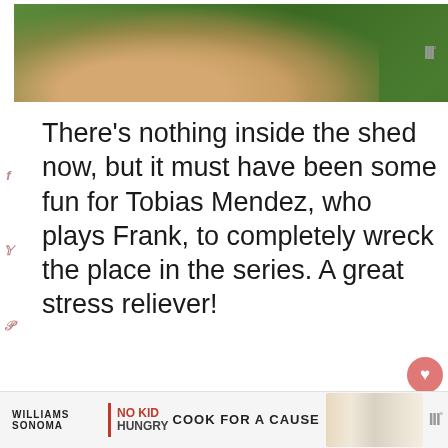[Figure (photo): Banner advertisement with green outdoor background, hands forming a heart shape, text 'LOVE > HATE' in white bold letters, with X close button]
There’s nothing inside the shed now, but it must have been some fun for Tobias Mendez, who plays Frank, to completely wreck the place in the series. A great stress reliever!
[Figure (photo): Dark interior photo of a wooden shed showing beams and ceiling structure, with 'in' text overlay, 587 counter, share button, and a 'WHAT'S NEXT' panel showing '8 Falkland Outlander...']
[Figure (photo): Bottom advertisement for Williams Sonoma and No Kid Hungry: 'COOK FOR A CAUSE' with decorative items]